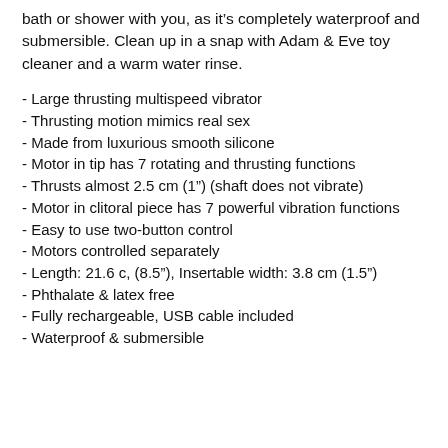bath or shower with you, as it's completely waterproof and submersible. Clean up in a snap with Adam & Eve toy cleaner and a warm water rinse.
- Large thrusting multispeed vibrator
- Thrusting motion mimics real sex
- Made from luxurious smooth silicone
- Motor in tip has 7 rotating and thrusting functions
- Thrusts almost 2.5 cm (1”) (shaft does not vibrate)
- Motor in clitoral piece has 7 powerful vibration functions
- Easy to use two-button control
- Motors controlled separately
- Length: 21.6 c, (8.5”), Insertable width: 3.8 cm (1.5”)
- Phthalate & latex free
- Fully rechargeable, USB cable included
- Waterproof & submersible